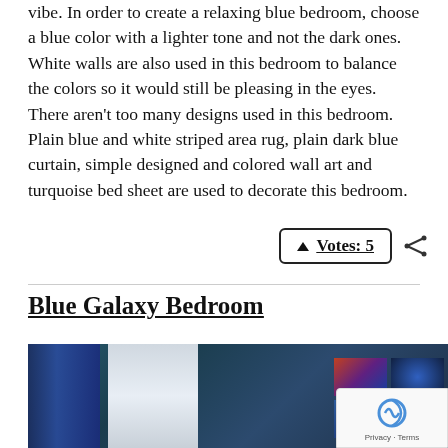vibe. In order to create a relaxing blue bedroom, choose a blue color with a lighter tone and not the dark ones. White walls are also used in this bedroom to balance the colors so it would still be pleasing in the eyes. There aren't too many designs used in this bedroom. Plain blue and white striped area rug, plain dark blue curtain, simple designed and colored wall art and turquoise bed sheet are used to decorate this bedroom.
▲ Votes: 5
Blue Galaxy Bedroom
[Figure (photo): Interior photo of a blue galaxy themed bedroom showing blue galaxy curtains on the left, a window with vertical blinds in the center, teal/dark blue walls, and a grid of galaxy-themed wall art panels on the right wall.]